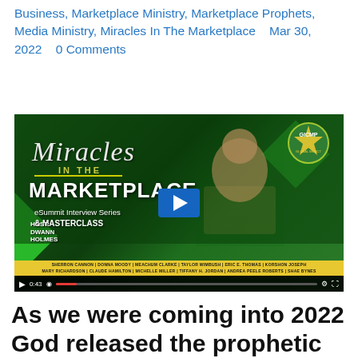Business, Marketplace Ministry, Marketplace Prophets, Media Ministry, Miracles In The Marketplace    Mar 30, 2022    0 Comments
[Figure (screenshot): Video thumbnail for 'Miracles in the Marketplace eSummit Interview Series & MASTERCLASS' hosted by Dwann Holmes, with a green background, cityscape, GICMP badge, group of speakers, and a play button overlay showing 0:43 duration.]
As we were coming into 2022 God released the prophetic word through